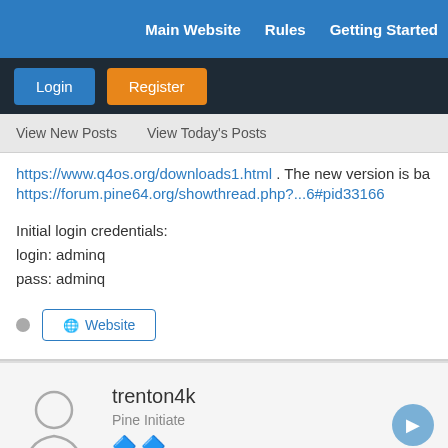Main Website   Rules   Getting Started
Login   Register
View New Posts   View Today's Posts
https://www.q4os.org/downloads1.html . The new version is ba...
https://forum.pine64.org/showthread.php?...6#pid33166

Initial login credentials:
login: adminq
pass: adminq
Website
trenton4k
Pine Initiate